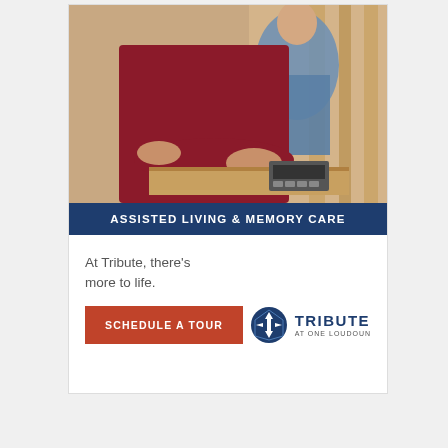[Figure (photo): Elderly person in a red/maroon long-sleeve shirt working on a wooden craft or puzzle, with another person in the background wearing a blue denim shirt. Hands are visible engaged in an activity at a table.]
ASSISTED LIVING & MEMORY CARE
At Tribute, there's more to life.
[Figure (logo): Tribute at One Loudoun logo: circular geometric icon in dark blue with white cross/diamond shape, next to bold uppercase text TRIBUTE and smaller text AT ONE LOUDOUN]
SCHEDULE A TOUR